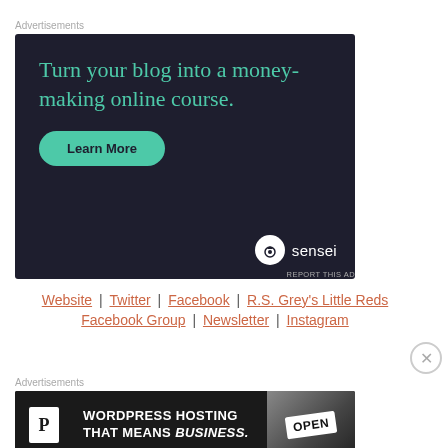Advertisements
[Figure (other): Sensei advertisement: dark background with teal text 'Turn your blog into a money-making online course.' and a teal Learn More button, with Sensei logo bottom right]
REPORT THIS AD
Website | Twitter | Facebook | R.S. Grey's Little Reds
Facebook Group | Newsletter | Instagram
Advertisements
[Figure (other): WordPress hosting advertisement with P logo and text: WORDPRESS HOSTING THAT MEANS BUSINESS. with an image of an Open sign]